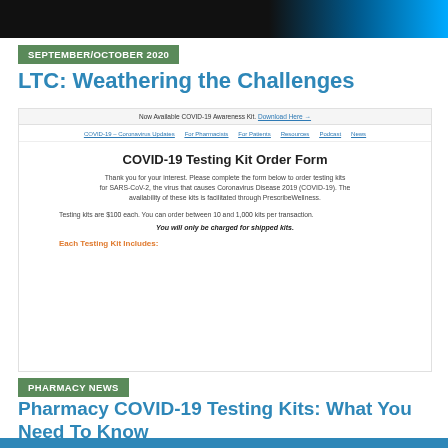[Figure (photo): Dark hero banner with blue network/technology graphic on the right side]
SEPTEMBER/OCTOBER 2020
LTC: Weathering the Challenges
[Figure (screenshot): Screenshot of a website showing COVID-19 Testing Kit Order Form. Top bar reads: Now Available COVID-19 Awareness Kit. Download Here. Navigation includes: COVID-19 – Coronavirus Updates, For Pharmacists, For Patients, Resources, Podcast, News. Main content: COVID-19 Testing Kit Order Form heading. Body text: Thank you for your interest. Please complete the form below to order testing kits for SARS-CoV-2, the virus that causes Coronavirus Disease 2019 (COVID-19). The availability of these kits is facilitated through PrescribeWellness. Testing kits are $100 each. You can order between 10 and 1,000 kits per transaction. You will only be charged for shipped kits. Each Testing Kit Includes:]
PHARMACY NEWS
Pharmacy COVID-19 Testing Kits: What You Need To Know